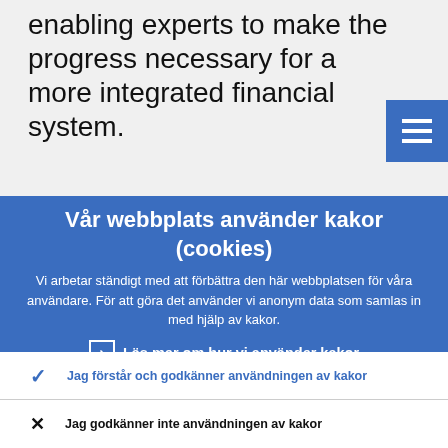enabling experts to make the progress necessary for a more integrated financial system.
Vår webbplats använder kakor (cookies)
Vi arbetar ständigt med att förbättra den här webbplatsen för våra användare. För att göra det använder vi anonym data som samlas in med hjälp av kakor.
› Läs mer om hur vi använder kakor
✓ Jag förstår och godkänner användningen av kakor
✗ Jag godkänner inte användningen av kakor